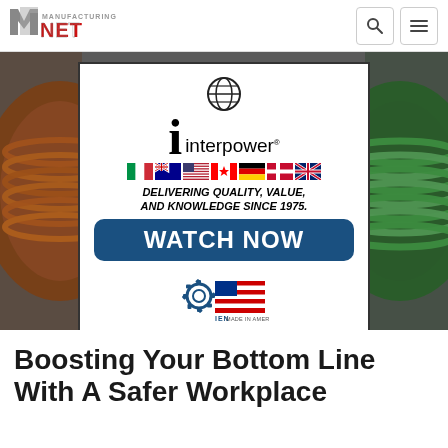Manufacturing.NET
[Figure (screenshot): Interpower advertisement: globe icon above stylized 'i interpower' logo, row of international flags (Italy, Australia, USA, Canada, Germany, Denmark, UK), bold italic text 'DELIVERING QUALITY, VALUE, AND KNOWLEDGE SINCE 1975.', dark blue rounded 'WATCH NOW' button, and IEN Made in America gear-flag logo at bottom. Background shows industrial cable spools on left and right sides.]
Boosting Your Bottom Line With A Safer Workplace